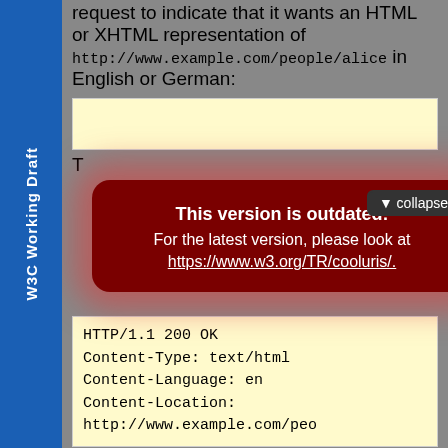For example, a browser could send this HTTP request to indicate that it wants an HTML or XHTML representation of http://www.example.com/people/alice in English or German:
[Figure (screenshot): Outdated version warning overlay with dark red background and collapse button, stating 'This version is outdated! For the latest version, please look at https://www.w3.org/TR/cooluris/.']
HTTP/1.1 200 OK
Content-Type: text/html
Content-Language: en
Content-Location: http://www.example.com/peo...
followed by the content of the HTML document in English.
Here we see Content negotiation [TAG-Alt] in action. The server interprets the Accept-Language headers in the request and decides to return the English representation of the resource in question.